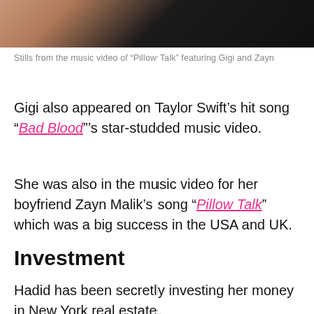[Figure (photo): Stills from the music video of 'Pillow Talk' featuring Gigi and Zayn — dark background with partial skin-tone visible]
Stills from the music video of “Pillow Talk” featuring Gigi and Zayn
Gigi also appeared on Taylor Swift’s hit song “Bad Blood”’s star-studded music video.
She was also in the music video for her boyfriend Zayn Malik’s song “Pillow Talk” which was a big success in the USA and UK.
Investment
Hadid has been secretly investing her money in New York real estate.